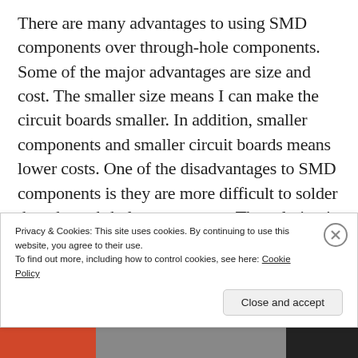There are many advantages to using SMD components over through-hole components. Some of the major advantages are size and cost. The smaller size means I can make the circuit boards smaller. In addition, smaller components and smaller circuit boards means lower costs. One of the disadvantages to SMD components is they are more difficult to solder than through-hole components. The solution is to use what is called a reflow oven. The following project details how I designed and built a reflow controller based on a
Privacy & Cookies: This site uses cookies. By continuing to use this website, you agree to their use.
To find out more, including how to control cookies, see here: Cookie Policy
Close and accept